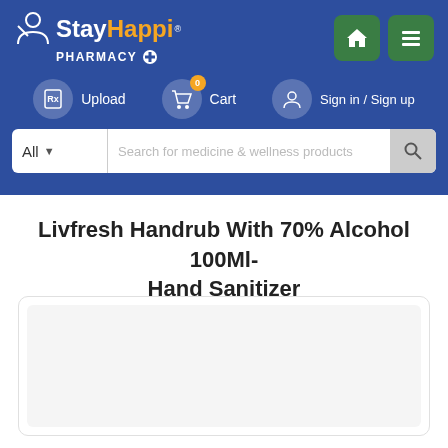[Figure (logo): StayHappi Pharmacy logo with person icon, orange and white text on blue background]
Upload
0  Cart
Sign in / Sign up
All  Search for medicine & wellness products
Livfresh Handrub With 70% Alcohol 100Ml- Hand Sanitizer
[Figure (photo): Product image area, light gray placeholder box]